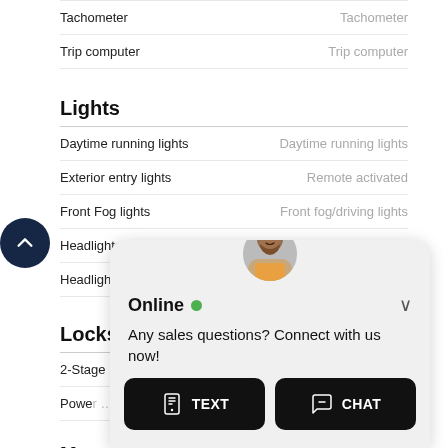| Feature | Value |
| --- | --- |
| Tachometer | Tachometer |
| Trip computer | Trip computer |
Lights
| Feature | Value |
| --- | --- |
| Daytime running lights | Daytime running lights |
| Exterior entry lights | Remote activated |
| Front Fog lights | Front fog/driving lights |
| Headlights auto delay | Auto delay off |
| Headlights dusk sensor | Dusk sensing |
Locks
| Feature | Value |
| --- | --- |
| 2-Stage unlocking | 2-stage unlocking |
| Power ... | Remote, digital keypad |
Mem...
| Feature | Value |
| --- | --- |
| includ... |  |
| includ... |  |
[Figure (screenshot): Online chat popup widget with avatar, 'Online' status indicator, message 'Any sales questions? Connect with us now!', and two buttons: TEXT and CHAT]